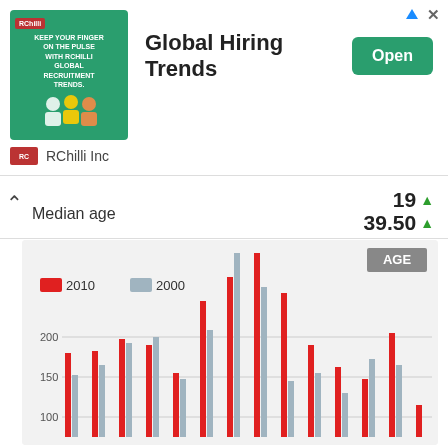[Figure (infographic): RChilli Inc advertisement banner for Global Hiring Trends with green background image and Open button]
RChilli Inc
19 ▲
Median age
39.50 ▲
[Figure (grouped-bar-chart): AGE]